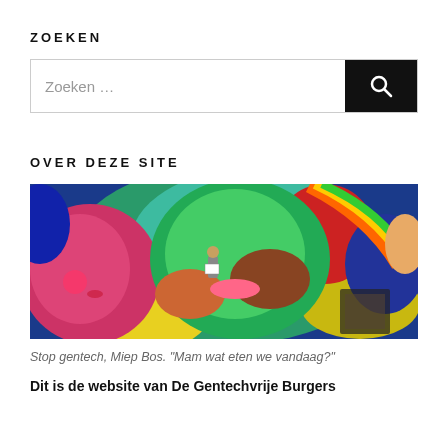ZOEKEN
[Figure (other): Search box with text input placeholder 'Zoeken...' and a black search button with magnifying glass icon]
OVER DEZE SITE
[Figure (photo): Colorful abstract painting with a child standing in front of it holding a sign. The painting features large abstract faces in bright blues, greens, reds, yellows and pinks. A woman's face is visible on the left side.]
Stop gentech, Miep Bos. "Mam wat eten we vandaag?"
Dit is de website van De Gentechvrije Burgers